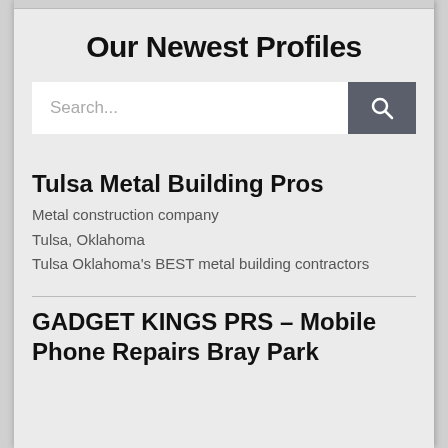Our Newest Profiles
[Figure (screenshot): Search bar with text input field showing 'Search...' placeholder and a dark grey search button with magnifying glass icon]
Tulsa Metal Building Pros
Metal construction company
Tulsa, Oklahoma
Tulsa Oklahoma's BEST metal building contractors
GADGET KINGS PRS – Mobile Phone Repairs Bray Park